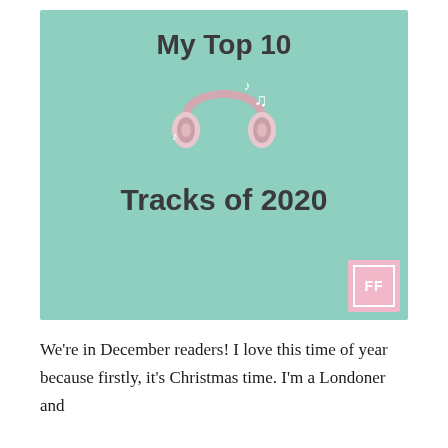[Figure (illustration): Mint/teal green banner image with bold dark text 'My Top 10' at the top, a pink/rose gold headphone illustration in the center with white musical notes floating around it, and bold text 'Tracks of 2020' below. A pink square logo with 'FF' in the bottom right corner.]
We're in December readers! I love this time of year because firstly, it's Christmas time. I'm a Londoner and